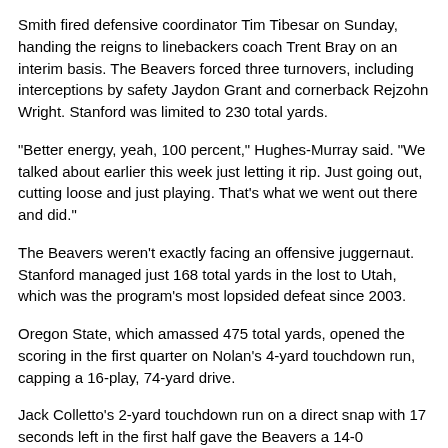Smith fired defensive coordinator Tim Tibesar on Sunday, handing the reigns to linebackers coach Trent Bray on an interim basis. The Beavers forced three turnovers, including interceptions by safety Jaydon Grant and cornerback Rejzohn Wright. Stanford was limited to 230 total yards.
"Better energy, yeah, 100 percent," Hughes-Murray said. "We talked about earlier this week just letting it rip. Just going out, cutting loose and just playing. That's what we went out there and did."
The Beavers weren't exactly facing an offensive juggernaut. Stanford managed just 168 total yards in the lost to Utah, which was the program's most lopsided defeat since 2003.
Oregon State, which amassed 475 total yards, opened the scoring in the first quarter on Nolan's 4-yard touchdown run, capping a 16-play, 74-yard drive.
Jack Colletto's 2-yard touchdown run on a direct snap with 17 seconds left in the first half gave the Beavers a 14-0 advantage at the break. Stanford managed just 74 total yards in the opening half and its best drive ended on a blocked field goal attempt from 55 yards.
Oregon State increased its lead to 21-0 early in the third quarter when Bradford turned a short pass into a 67-yard touchdown.